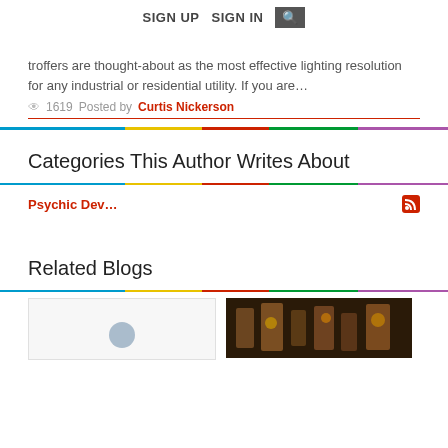SIGN UP   SIGN IN   [search]
troffers are thought-about as the most effective lighting resolution for any industrial or residential utility. If you are…
1619   Posted by Curtis Nickerson
Categories This Author Writes About
Psychic Dev…
Related Blogs
[Figure (photo): Placeholder thumbnail with person silhouette icon]
[Figure (photo): Dark industrial photograph with warm lighting]